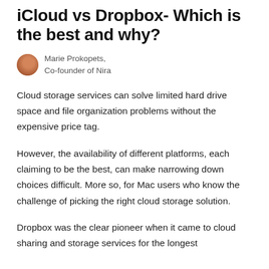iCloud vs Dropbox- Which is the best and why?
Marie Prokopets,
Co-founder of Nira
Cloud storage services can solve limited hard drive space and file organization problems without the expensive price tag.
However, the availability of different platforms, each claiming to be the best, can make narrowing down choices difficult. More so, for Mac users who know the challenge of picking the right cloud storage solution.
Dropbox was the clear pioneer when it came to cloud sharing and storage services for the longest